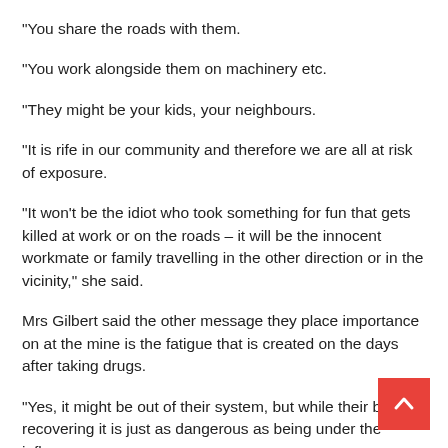“You share the roads with them.
“You work alongside them on machinery etc.
“They might be your kids, your neighbours.
“It is rife in our community and therefore we are all at risk of exposure.
“It won’t be the idiot who took something for fun that gets killed at work or on the roads – it will be the innocent workmate or family travelling in the other direction or in the vicinity,” she said.
Mrs Gilbert said the other message they place importance on at the mine is the fatigue that is created on the days after taking drugs.
“Yes, it might be out of their system, but while their body is recovering it is just as dangerous as being under the influence